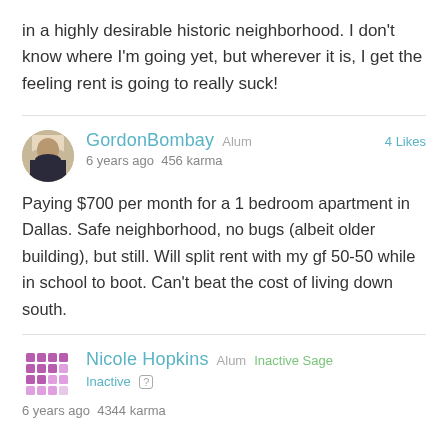in a highly desirable historic neighborhood. I don't know where I'm going yet, but wherever it is, I get the feeling rent is going to really suck!
GordonBombay Alum 4 Likes
6 years ago 456 karma

Paying $700 per month for a 1 bedroom apartment in Dallas. Safe neighborhood, no bugs (albeit older building), but still. Will split rent with my gf 50-50 while in school to boot. Can't beat the cost of living down south.
Nicole Hopkins Alum Inactive Sage
Inactive
6 years ago 4344 karma